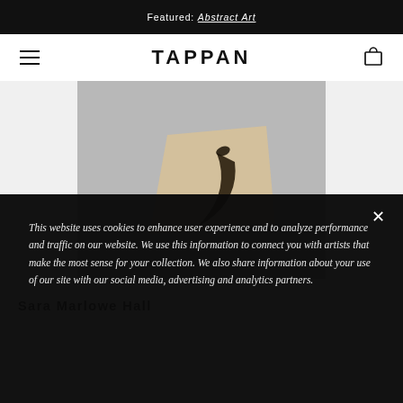Featured: Abstract Art
TAPPAN
[Figure (photo): Partial view of a painting on gray background showing abstract forms including a dark curved shape and a beige/tan irregular shape, suggesting a bird or figure]
Sara Marlowe Hall
This website uses cookies to enhance user experience and to analyze performance and traffic on our website. We use this information to connect you with artists that make the most sense for your collection. We also share information about your use of our site with our social media, advertising and analytics partners.